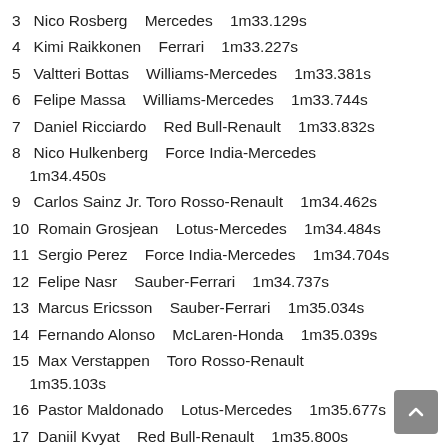3  Nico Rosberg  Mercedes  1m33.129s
4  Kimi Raikkonen  Ferrari  1m33.227s
5  Valtteri Bottas  Williams-Mercedes  1m33.381s
6  Felipe Massa  Williams-Mercedes  1m33.744s
7  Daniel Ricciardo  Red Bull-Renault  1m33.832s
8  Nico Hulkenberg  Force India-Mercedes  1m34.450s
9  Carlos Sainz Jr. Toro Rosso-Renault  1m34.462s
10  Romain Grosjean  Lotus-Mercedes  1m34.484s
11  Sergio Perez  Force India-Mercedes  1m34.704s
12  Felipe Nasr  Sauber-Ferrari  1m34.737s
13  Marcus Ericsson  Sauber-Ferrari  1m35.034s
14  Fernando Alonso  McLaren-Honda  1m35.039s
15  Max Verstappen  Toro Rosso-Renault  1m35.103s
16  Pastor Maldonado  Lotus-Mercedes  1m35.677s
17  Daniil Kvyat  Red Bull-Renault  1m35.800s
18  Will Stevens  Manor-Ferrari  1m38.713s
19  Roberto Merhi  Manor-Ferrari  1m39.722s